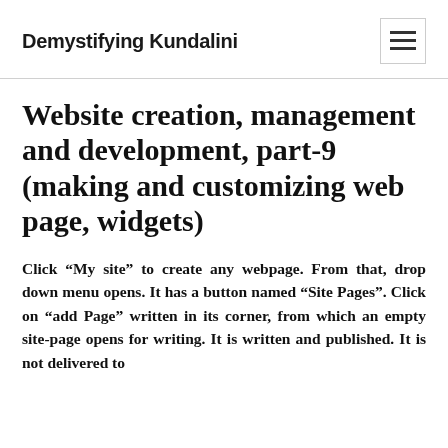Demystifying Kundalini
Website creation, management and development, part-9 (making and customizing web page, widgets)
Click “My site” to create any webpage. From that, drop down menu opens. It has a button named “Site Pages”. Click on “add Page” written in its corner, from which an empty site-page opens for writing. It is written and published. It is not delivered to